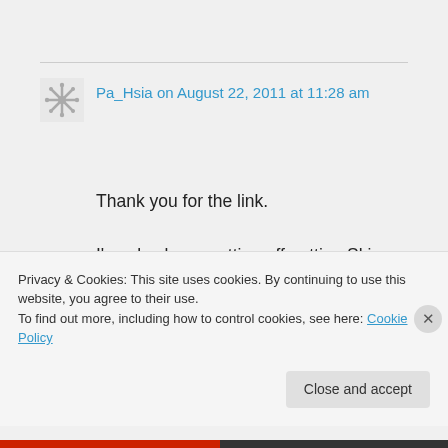Pa_Hsia on August 22, 2011 at 11:28 am
Thank you for the link. I've also been putting off getting Skin Spirits and Fang and Fur because of the high shipping cost. They just jumped to the top of my 'must get' list!
Privacy & Cookies: This site uses cookies. By continuing to use this website, you agree to their use. To find out more, including how to control cookies, see here: Cookie Policy
Close and accept